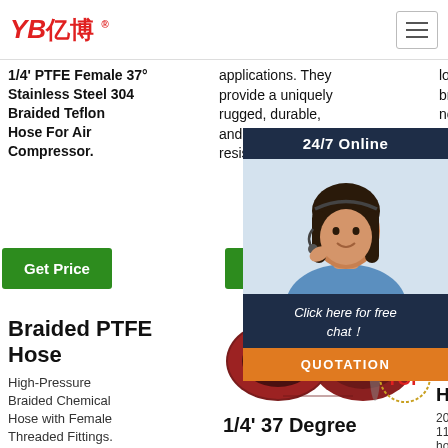YB亿博 logo and navigation
1/4' PTFE Female 37° Stainless Steel 304 Braided Teflon Hose For Air Compressor.
applications. They provide a uniquely rugged, durable, and chemically resistant combinat
long service life, no brittleness, no aging, no a
Get Price
Get Price
Braided PTFE Hose
High-Pressure Braided Chemical Hose with Female Threaded Fittings. Temperature Range: 65° to 450°
[Figure (photo): Red braided PTFE hose cross-section showing black inner liner]
1/4' 37 Degree
Sta 304 Braided Flexible Metal Hose
2021-10-11u2002·u2002Corrugated hose, braided mesh
[Figure (screenshot): 24/7 online chat overlay with female agent wearing headset, Click here for free chat!, QUOTATION button]